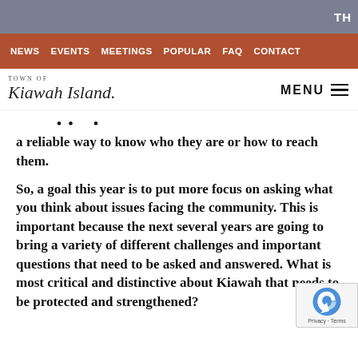TH
NEWS  EVENTS  MEETINGS  POPULAR  FAQ  CONTACT
TOWN OF Kiawah Island  MENU
a reliable way to know who they are or how to reach them.
So, a goal this year is to put more focus on asking what you think about issues facing the community. This is important because the next several years are going to bring a variety of different challenges and important questions that need to be asked and answered. What is most critical and distinctive about Kiawah that needs to be protected and strengthened?